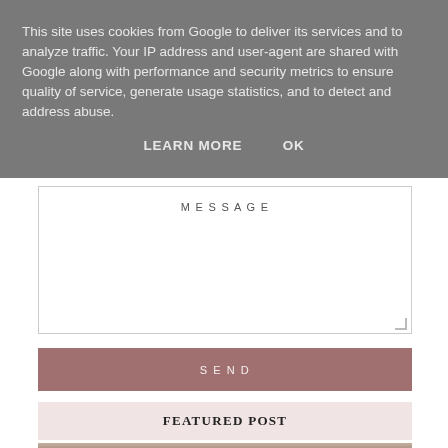This site uses cookies from Google to deliver its services and to analyze traffic. Your IP address and user-agent are shared with Google along with performance and security metrics to ensure quality of service, generate usage statistics, and to detect and address abuse.
LEARN MORE    OK
MESSAGE
SEND
FEATURED POST
[Figure (photo): Photo of a table with dishes, glasses and cooking items visible at the bottom of the page]